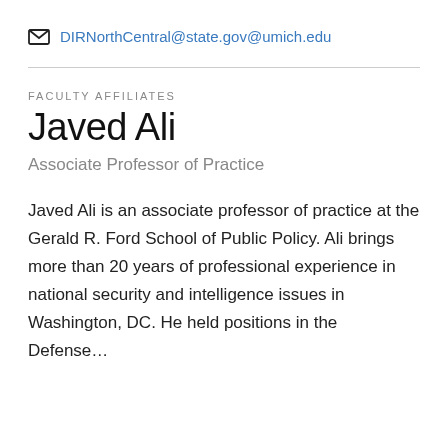DIRNorthCentral@state.gov@umich.edu
FACULTY AFFILIATES
Javed Ali
Associate Professor of Practice
Javed Ali is an associate professor of practice at the Gerald R. Ford School of Public Policy. Ali brings more than 20 years of professional experience in national security and intelligence issues in Washington, DC. He held positions in the Defense…